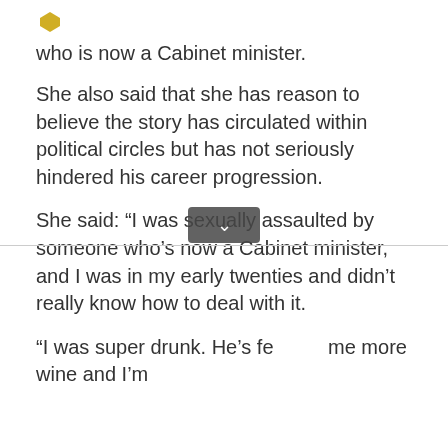who is now a Cabinet minister.
She also said that she has reason to believe the story has circulated within political circles but has not seriously hindered his career progression.
She said: “I was sexually assaulted by someone who’s now a Cabinet minister, and I was in my early twenties and didn’t really know how to deal with it.
“I was super drunk. He’s feeding me more wine and I’m